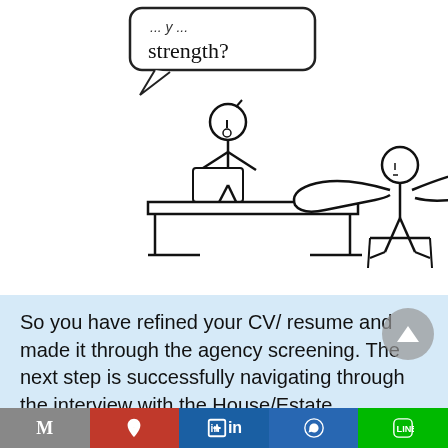[Figure (illustration): Hand-drawn cartoon: a speech bubble at top saying 'strength?' with a stick figure interviewer sitting at a desk, and a muscular stick figure candidate sitting across doing push-up pose with exaggerated muscles.]
So you have refined your CV/ resume and made it through the agency screening. The next step is successfully navigating through the interview with the House/Estate
M  [Pinterest]  in  [WhatsApp]  [LINE]